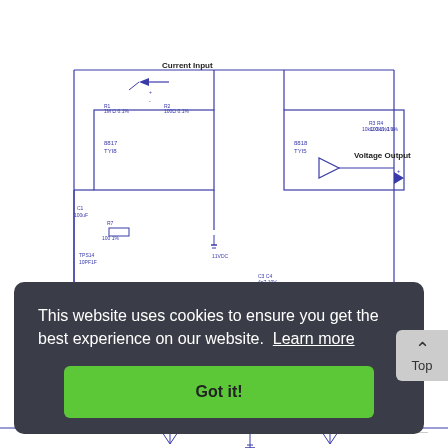[Figure (schematic): Complex electronic circuit schematic showing a current input/voltage output measurement circuit with op-amps, resistors, capacitors, and a battery. Labels include 'Current Input', 'Voltage Output', and various component designators. A yellow highlighted IC component is visible in the lower-left area. Blue wiring throughout.]
The µCurrent is in many cases also able to improve upon your meters current range accuracy by...
This website uses cookies to ensure you get the best experience on our website. Learn more
Got it!